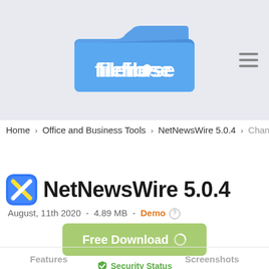[Figure (logo): Filehorse logo — blue folder icon with white 'filehorse' text]
Home › Office and Business Tools › NetNewsWire 5.0.4 › Change Log
NetNewsWire 5.0.4
August, 11th 2020  -  4.89 MB  -  Demo ⓘ
[Figure (other): Green 'Free Download' button with loading icon]
Security Status
Features	Screenshots